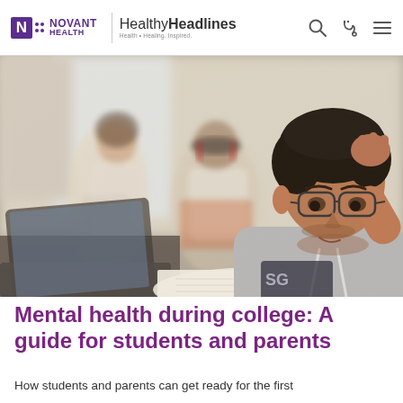NOVANT HEALTH | HealthyHeadlines — Health • Healing. Inspired.
[Figure (photo): A stressed college student wearing glasses and a grey hoodie rests his hand on his head while looking down at an open textbook and laptop. Two other students are visible in the blurred background, one holding a book with headphones.]
Mental health during college: A guide for students and parents
How students and parents can get ready for the first